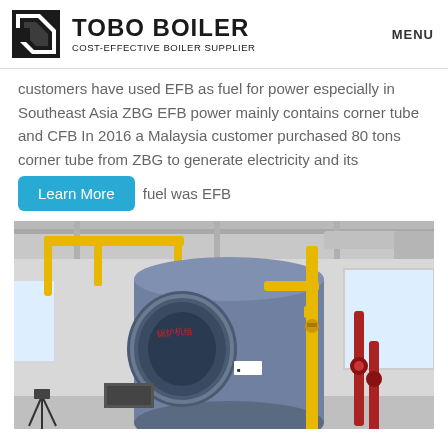TOBO BOILER — COST-EFFECTIVE BOILER SUPPLIER | MENU
customers have used EFB as fuel for power especially in Southeast Asia ZBG EFB power mainly contains corner tube and CFB In 2016 a Malaysia customer purchased 80 tons corner tube from ZBG to generate electricity and its fuel was EFB
[Figure (photo): Industrial boiler unit inside a facility with yellow pipes, a large cylindrical blue-grey vessel, red pipe fittings, and white walls. Chinese characters visible on the boiler front.]